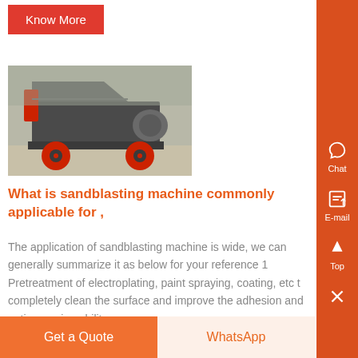Know More
[Figure (photo): Industrial sandblasting machine with red wheels on a gray metal frame, photographed outdoors]
What is sandblasting machine commonly applicable for ,
The application of sandblasting machine is wide, we can generally summarize it as below for your reference 1 Pretreatment of electroplating, paint spraying, coating, etc t completely clean the surface and improve the adhesion and anti-corrosion ability..
Get a Quote
WhatsApp